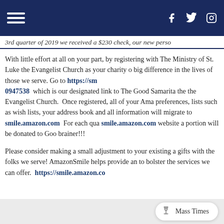Navigation bar with hamburger menu, Facebook, Twitter, Instagram icons
3rd quarter of 2019 we received a $230 check, our new perso
With little effort at all on your part, by registering with The Ministry of St. Luke the Evangelist Church as your charity o big difference in the lives of those we serve. Go to https://sm 0947538 which is our designated link to The Good Samarita the the Evangelist Church. Once registered, all of your Ama preferences, lists such as wish lists, your address book and all information will migrate to smile.amazon.com For each qua smile.amazon.com website a portion will be donated to Goo brainer!!!
Please consider making a small adjustment to your existing a gifts with the folks we serve! AmazonSmile helps provide an to bolster the services we can offer. https://smile.amazon.co
Mass Times